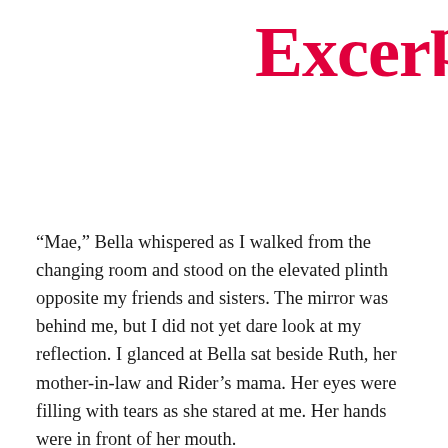Excerpt
“Mae,” Bella whispered as I walked from the changing room and stood on the elevated plinth opposite my friends and sisters. The mirror was behind me, but I did not yet dare look at my reflection. I glanced at Bella sat beside Ruth, her mother-in-law and Rider’s mama. Her eyes were filling with tears as she stared at me. Her hands were in front of her mouth.
“Do you like it?” I ran my hand over my pronounced stomach.
Bella nodded. “You are perfect,” she whispered. Ruth nodded in agreement.